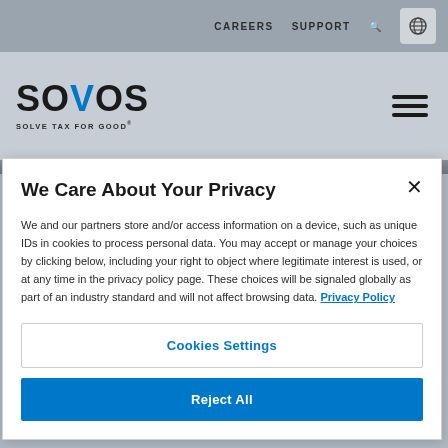CAREERS   SUPPORT
[Figure (logo): Sovos logo with tagline SOLVE TAX FOR GOOD®]
We Care About Your Privacy
We and our partners store and/or access information on a device, such as unique IDs in cookies to process personal data. You may accept or manage your choices by clicking below, including your right to object where legitimate interest is used, or at any time in the privacy policy page. These choices will be signaled globally as part of an industry standard and will not affect browsing data. Privacy Policy
Cookies Settings
Reject All